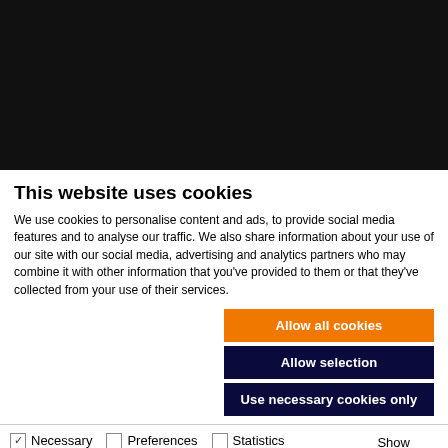[Figure (screenshot): Black banner/header area at the top of the page, representing a website header or video area.]
This website uses cookies
We use cookies to personalise content and ads, to provide social media features and to analyse our traffic. We also share information about your use of our site with our social media, advertising and analytics partners who may combine it with other information that you've provided to them or that they've collected from your use of their services.
Allow all cookies
Allow selection
Use necessary cookies only
Necessary  Preferences  Statistics  Marketing  Show details